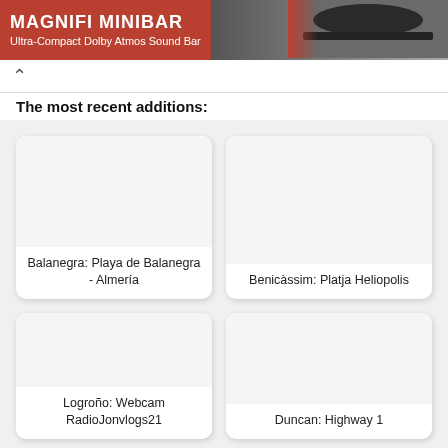[Figure (photo): Advertisement banner for Polk Audio Magnifi MiniBar, Ultra-Compact Dolby Atmos Sound Bar, with red background, product image and polk branding]
The most recent additions:
Balanegra: Playa de Balanegra - Almería
Benicàssim: Platja Heliopolis
Logroño: Webcam RadioJonvlogs21
Duncan: Highway 1